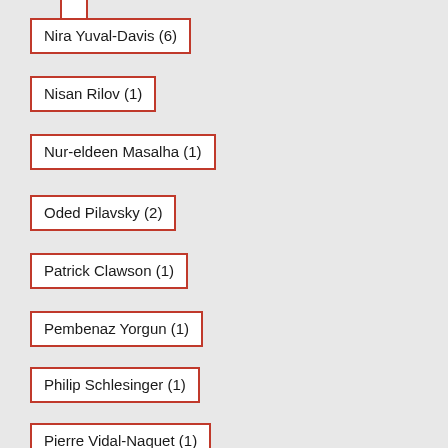Nira Yuval-Davis (6)
Nisan Rilov (1)
Nur-eldeen Masalha (1)
Oded Pilavsky (2)
Patrick Clawson (1)
Pembenaz Yorgun (1)
Philip Schlesinger (1)
Pierre Vidal-Naquet (1)
R. Keivan (1)
Rami Heilbronn (4)
Raphael Shapiro (1)
Richard Marienstras (1)